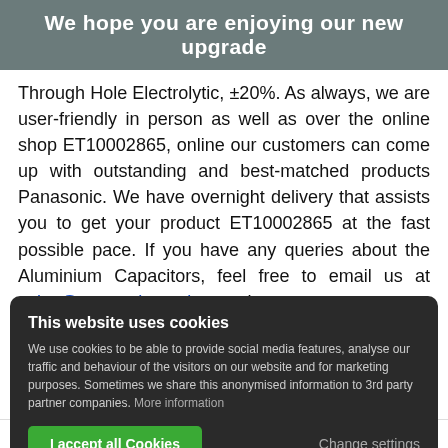We hope you are enjoying our new upgrade
Through Hole Electrolytic, ±20%. As always, we are user-friendly in person as well as over the online shop ET10002865, online our customers can come up with outstanding and best-matched products Panasonic. We have overnight delivery that assists you to get your product ET10002865 at the fast possible pace. If you have any queries about the Aluminium Capacitors, feel free to email us at sales@enrgtech.co.uk or make a
This website uses cookies
We use cookies to be able to provide social media features, analyse our traffic and behaviour of the visitors on our website and for marketing purposes. Sometimes we share this anonymised information to 3rd party partner companies. More information
I accept all Cookies
Change settings
Related Manufacturers: Murata | Panasonic |